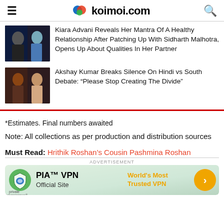koimoi.com
Kiara Advani Reveals Her Mantra Of A Healthy Relationship After Patching Up With Sidharth Malhotra, Opens Up About Qualities In Her Partner
Akshay Kumar Breaks Silence On Hindi vs South Debate: “Please Stop Creating The Divide”
*Estimates. Final numbers awaited
Note: All collections as per production and distribution sources
Must Read: Hrithik Roshan’s Cousin Pashmina Roshan
[Figure (other): PIA VPN advertisement banner]